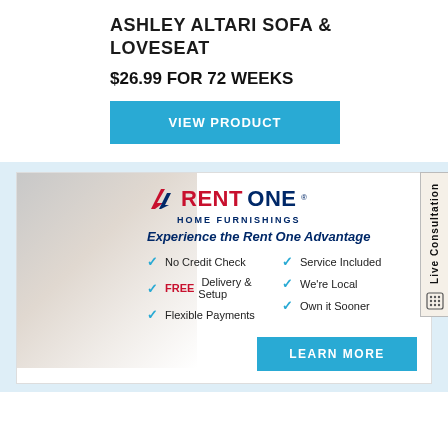ASHLEY ALTARI SOFA & LOVESEAT
$26.99 FOR 72 WEEKS
VIEW PRODUCT
[Figure (infographic): Rent One Home Furnishings advertisement banner with logo, tagline 'Experience the Rent One Advantage', and feature bullet points: No Credit Check, FREE Delivery & Setup, Flexible Payments, Service Included, We're Local, Own it Sooner, with LEARN MORE button. Background shows people relaxing on furniture.]
Live Consultation